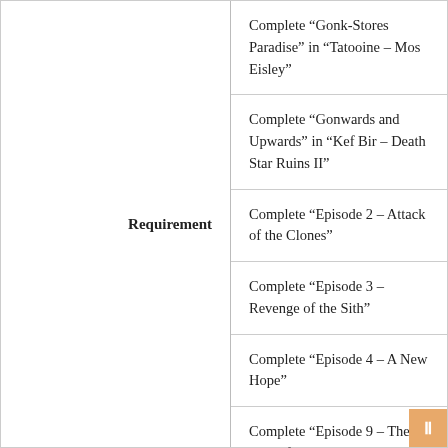Requirement
Complete “Gonk-Stores Paradise” in “Tatooine – Mos Eisley”
Complete “Gonwards and Upwards” in “Kef Bir – Death Star Ruins II”
Complete “Episode 2 – Attack of the Clones”
Complete “Episode 3 – Revenge of the Sith”
Complete “Episode 4 – A New Hope”
Complete “Episode 9 – The Rise of Skywalker”